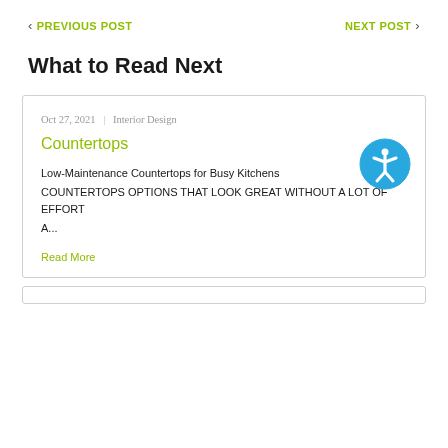< PREVIOUS POST    NEXT POST >
What to Read Next
Oct 27, 2021 | Interior Design
Countertops
Low-Maintenance Countertops for Busy Kitchens
COUNTERTOPS OPTIONS THAT LOOK GREAT WITHOUT A LOT OF EFFORT
A...
Read More